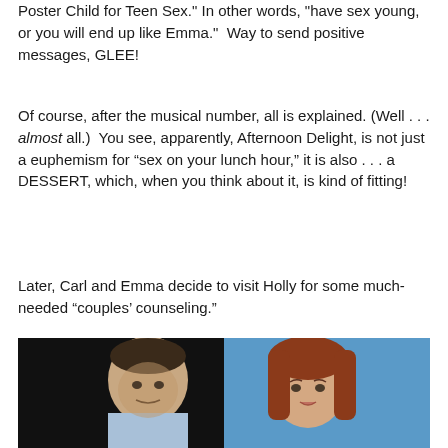Poster Child for Teen Sex." In other words, "have sex young, or you will end up like Emma."  Way to send positive messages, GLEE!
Of course, after the musical number, all is explained. (Well . . . almost all.)  You see, apparently, Afternoon Delight, is not just a euphemism for “sex on your lunch hour,” it is also . . . a DESSERT, which, when you think about it, is kind of fitting!
Later, Carl and Emma decide to visit Holly for some much-needed “couples’ counseling.”
[Figure (photo): Two actors side by side: a dark-haired man on the left against a black background and a red-haired woman on the right against a blue background, both from the TV show Glee.]